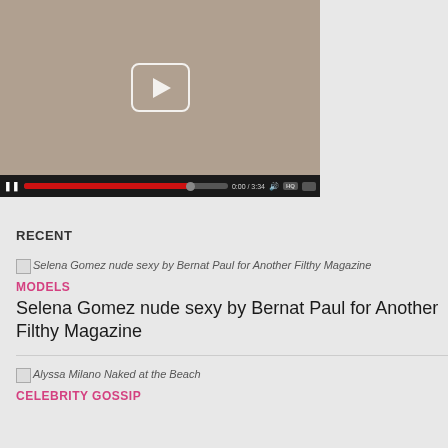[Figure (screenshot): Video player showing thumbnail with play button overlay and video controls bar including pause button, red progress bar, timestamp 0:00/3:34, speaker icon, HQ badge, and size toggle]
RECENT
[Figure (photo): Thumbnail image placeholder for Selena Gomez nude sexy by Bernat Paul for Another Filthy Magazine]
Selena Gomez nude sexy by Bernat Paul for Another Filthy Magazine
MODELS
Selena Gomez nude sexy by Bernat Paul for Another Filthy Magazine
[Figure (photo): Thumbnail image placeholder for Alyssa Milano Naked at the Beach]
Alyssa Milano Naked at the Beach
CELEBRITY GOSSIP